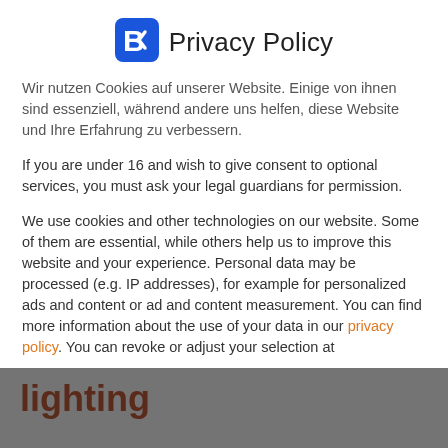[Figure (logo): Blue stylized 'B' logo icon next to 'Privacy Policy' heading]
Privacy Policy
Wir nutzen Cookies auf unserer Website. Einige von ihnen sind essenziell, während andere uns helfen, diese Website und Ihre Erfahrung zu verbessern.
If you are under 16 and wish to give consent to optional services, you must ask your legal guardians for permission.
We use cookies and other technologies on our website. Some of them are essential, while others help us to improve this website and your experience. Personal data may be processed (e.g. IP addresses), for example for personalized ads and content or ad and content measurement. You can find more information about the use of your data in our privacy policy. You can revoke or adjust your selection at
Essenziell
Externe Medien
Accept all
lighting